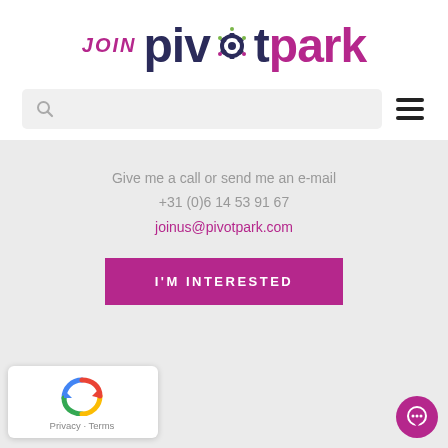[Figure (logo): JOIN PivotPark logo with gear-shaped 'o', JOIN in pink italic, pivot in dark navy bold, park in pink bold]
[Figure (screenshot): Navigation bar with search box (magnifying glass icon) and hamburger menu icon on right]
Give me a call or send me an e-mail
+31 (0)6 14 53 91 67
joinus@pivotpark.com
[Figure (other): Pink CTA button with text 'I'M INTERESTED']
[Figure (other): reCAPTCHA badge bottom-left with Privacy and Terms links]
[Figure (other): Pink circular chat button bottom-right]